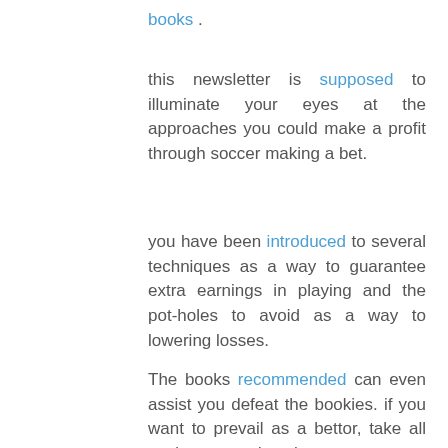books .
this newsletter is supposed to illuminate your eyes at the approaches you could make a profit through soccer making a bet.
you have been introduced to several techniques as a way to guarantee extra earnings in playing and the pot-holes to avoid as a way to lowering losses.
The books recommended can even assist you defeat the bookies. if you want to prevail as a bettor, take all you've got study to heart.